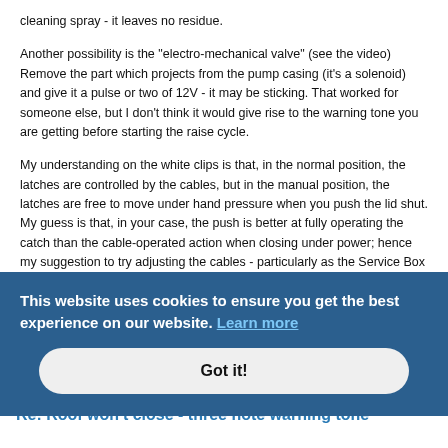cleaning spray - it leaves no residue.
Another possibility is the "electro-mechanical valve" (see the video) Remove the part which projects from the pump casing (it's a solenoid) and give it a pulse or two of 12V - it may be sticking. That worked for someone else, but I don't think it would give rise to the warning tone you are getting before starting the raise cycle.
My understanding on the white clips is that, in the normal position, the latches are controlled by the cables, but in the manual position, the latches are free to move under hand pressure when you push the lid shut. My guess is that, in your case, the push is better at fully operating the catch than the cable-operated action when closing under power; hence my suggestion to try adjusting the cables - particularly as the Service Box tells you to do so.
I understand your doubt is caused by the fact that the roof is refusing to go up, not down, but the three beep warning is happening before you operate the switch. From what I understand, this is because the ECU thinks that the lid is not correctly latched. In that situation, I think it is not allowed to move the
This website uses cookies to ensure you get the best experience on our website. Learn more
Got it!
A1Dan75
Re: Roof won't close - three note warning tone